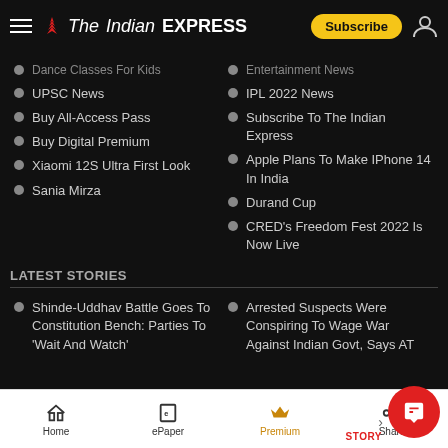The Indian EXPRESS
Dance Classes For Kids
Entertainment News
UPSC News
IPL 2022 News
Buy All-Access Pass
Subscribe To The Indian Express
Buy Digital Premium
Apple Plans To Make IPhone 14 In India
Xiaomi 12S Ultra First Look
Durand Cup
Sania Mirza
CRED's Freedom Fest 2022 Is Now Live
LATEST STORIES
Shinde-Uddhav Battle Goes To Constitution Bench: Parties To 'Wait And Watch'
Arrested Suspects Were Conspiring To Wage War Against Indian Govt, Says AT
Home  ePaper  Premium  Share  STORY